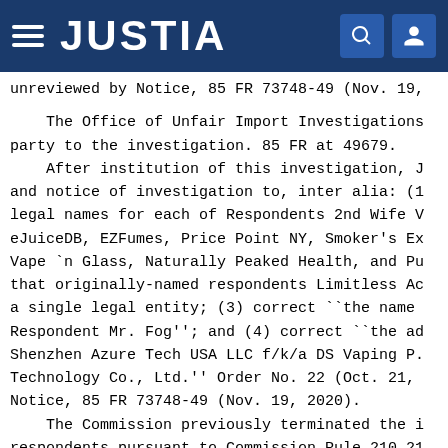JUSTIA
unreviewed by Notice, 85 FR 73748-49 (Nov. 19,
The Office of Unfair Import Investigations party to the investigation. 85 FR at 49679. After institution of this investigation, J and notice of investigation to, inter alia: (1 legal names for each of Respondents 2nd Wife V eJuiceDB, EZFumes, Price Point NY, Smoker's Ex Vape `n Glass, Naturally Peaked Health, and Pu that originally-named respondents Limitless Ac a single legal entity; (3) correct ``the name Respondent Mr. Fog''; and (4) correct ``the ad Shenzhen Azure Tech USA LLC f/k/a DS Vaping P. Technology Co., Ltd.'' Order No. 22 (Oct. 21, Notice, 85 FR 73748-49 (Nov. 19, 2020). The Commission previously terminated the i respondents pursuant to Commission Rule 210.21